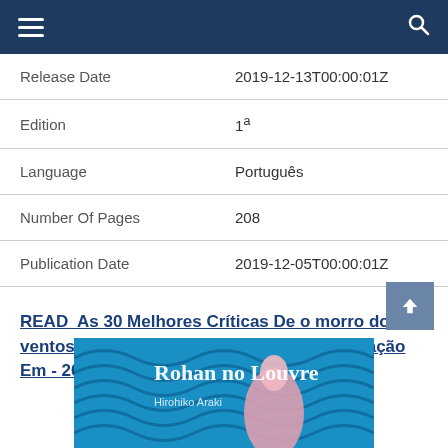≡  🔍
| Release Date | 2019-12-13T00:00:01Z |
| Edition | 1ª |
| Language | Português |
| Number Of Pages | 208 |
| Publication Date | 2019-12-05T00:00:01Z |
READ  As 30 Melhores Críticas De o morro dos ventos uivantes martin claret Com Comparação Em - 2022
[Figure (photo): Book cover for 'Rohan no Louvre' by Hirohiko Araki, showing blue swirling design with pink figure]